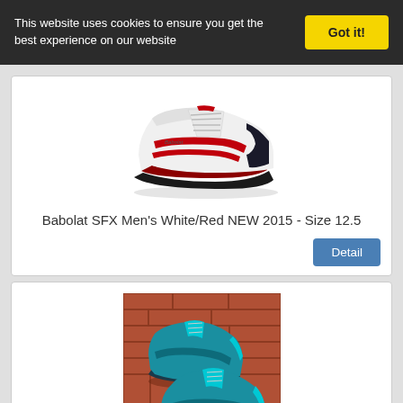This website uses cookies to ensure you get the best experience on our website
Got it!
[Figure (photo): Babolat SFX white and red tennis shoe, side view on white background]
Babolat SFX Men's White/Red NEW 2015 - Size 12.5
Detail
[Figure (photo): Babolat SFX teal/blue men's tennis shoes on brick surface, top-down view]
Babolat SFX Men's Tennis Shoes Size 10 EUC/LNCI